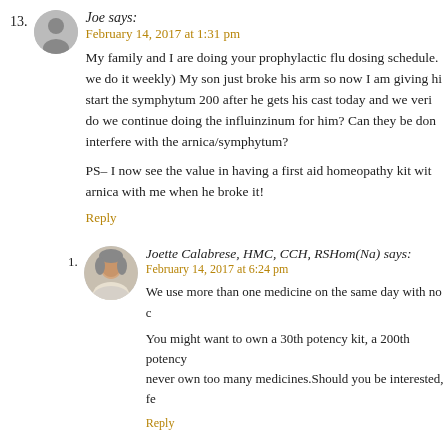13. Joe says: February 14, 2017 at 1:31 pm
My family and I are doing your prophylactic flu dosing schedule. (we do it weekly) My son just broke his arm so now I am giving hi... start the symphytum 200 after he gets his cast today and we veri... do we continue doing the influinzinum for him? Can they be don... interfere with the arnica/symphytum?

PS– I now see the value in having a first aid homeopathy kit wit... arnica with me when he broke it!

Reply
1. Joette Calabrese, HMC, CCH, RSHom(Na) says: February 14, 2017 at 6:24 pm
We use more than one medicine on the same day with no c...

You might want to own a 30th potency kit, a 200th potency... never own too many medicines.Should you be interested, fe...

Reply